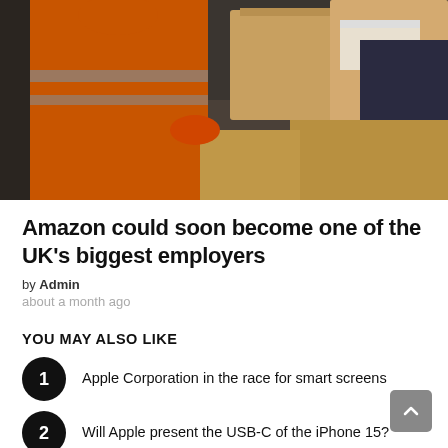[Figure (photo): Person in orange high-visibility jacket handling packages/boxes in a warehouse or delivery setting. Amazon boxes visible in the background.]
Amazon could soon become one of the UK's biggest employers
by Admin
about a month ago
YOU MAY ALSO LIKE
Apple Corporation in the race for smart screens
Will Apple present the USB-C of the iPhone 15?